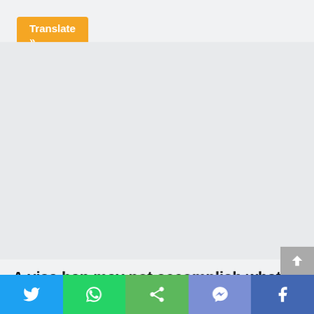[Figure (screenshot): Orange Translate button in top-left corner of webpage]
[Figure (other): Gray advertisement/placeholder area]
A visa ban may not accomplish what Ukraine desires
August 12, 2022 by NFO
[Figure (other): Social sharing bar with Twitter, WhatsApp, Share, Messenger, and Facebook buttons]